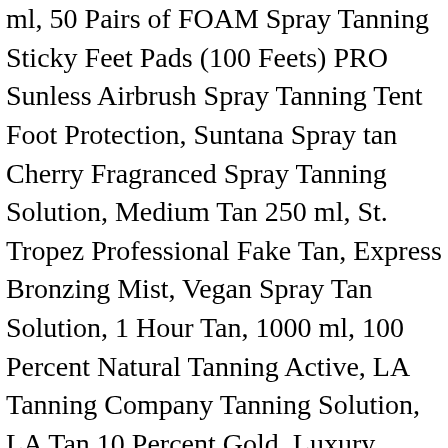Fragranced Spray Tanning Solution, Dark Tan 250 ml, 50 Pairs of FOAM Spray Tanning Sticky Feet Pads (100 Feets) PRO Sunless Airbrush Spray Tanning Tent Foot Protection, Suntana Spray tan Cherry Fragranced Spray Tanning Solution, Medium Tan 250 ml, St. Tropez Professional Fake Tan, Express Bronzing Mist, Vegan Spray Tan Solution, 1 Hour Tan, 1000 ml, 100 Percent Natural Tanning Active, LA Tanning Company Tanning Solution, LA Tan 10 Percent Gold, Luxury Velvet Self Tan Mitt – BEST Reusable Fake Tan Applicator Mitt - Longest-Lasting